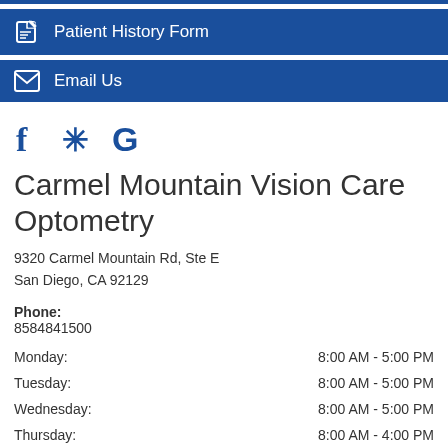Patient History Form
Email Us
[Figure (logo): Social media icons: Facebook (f), Yelp (asterisk/flower shape), Google (G) in dark blue]
Carmel Mountain Vision Care Optometry
9320 Carmel Mountain Rd, Ste E
San Diego, CA 92129
Phone:
8584841500
| Day | Hours |
| --- | --- |
| Monday: | 8:00 AM - 5:00 PM |
| Tuesday: | 8:00 AM - 5:00 PM |
| Wednesday: | 8:00 AM - 5:00 PM |
| Thursday: | 8:00 AM - 4:00 PM |